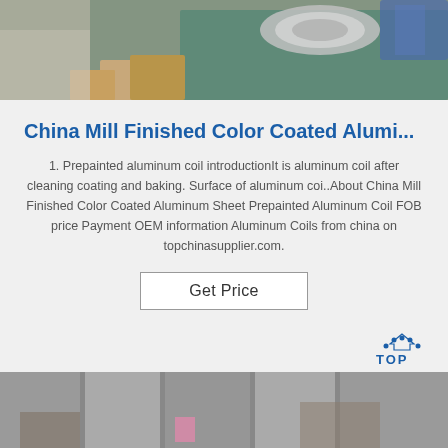[Figure (photo): Industrial or workshop scene showing aluminum coils or materials being handled, with greenish/teal background and machinery visible from above.]
China Mill Finished Color Coated Alumi...
1. Prepainted aluminum coil introductionIt is aluminum coil after cleaning coating and baking. Surface of aluminum coi..About China Mill Finished Color Coated Aluminum Sheet Prepainted Aluminum Coil FOB price Payment OEM information Aluminum Coils from china on topchinasupplier.com.
Get Price
[Figure (logo): TOP China Supplier logo — dots arranged in arc over the word TOP in blue.]
[Figure (photo): Interior warehouse or storage area with hanging textiles/curtains and shelving units, industrial setting.]